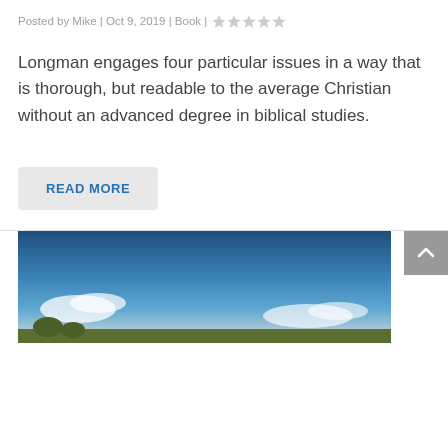Posted by Mike | Oct 9, 2019 | Book | ★☆☆☆☆
Longman engages four particular issues in a way that is thorough, but readable to the average Christian without an advanced degree in biblical studies.
READ MORE
[Figure (photo): Outdoor landscape photo showing a blue sky with white clouds and green trees/hills at the bottom.]